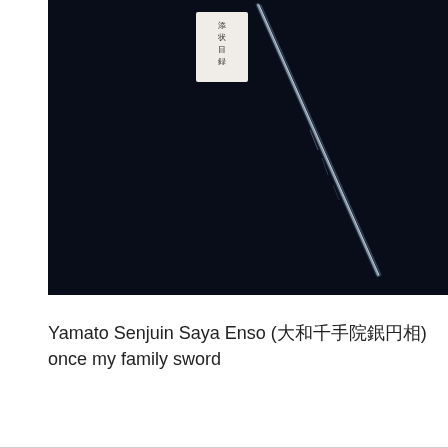[Figure (photo): A Japanese sword (katana blade) photographed against a dark navy/black background. The blade is oriented diagonally from upper-center to lower-right. A small white label with Japanese characters is visible in the upper portion of the image.]
Yamato Senjuin Saya Enso (大和千手院鞘円相)  once my family sword